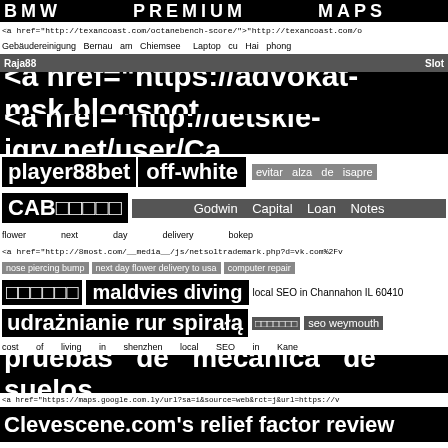BMW PREMIUM MAPS
<a href="http://texancoast.com/octanebench-score/">"http://texancoast.com/o
Gebäudereinigung Bernau am Chiemsee   Laptop cu Hai phong
Raja88   Slot
<a href="https://advokat-msk.blogspot.c
<a href="http://detskie-igry.net/user/Ca
player88bet   off-white   evitar alza de isapre
CAB□□□□□   Godwin Capital Loan Notes
flower next day delivery   bokep
<a href="http://8most.com/__media__/js/netsoltrademark.php?d=vk.com%2Fv
nose piercing bump   next day flower delivery to usa   computer repair
□□□□□□   maldvies diving   local SEO in Channahon IL 60410
udrażnianie rur spiralą   □□□□□□□   seo weymouth
cost of living in shenzhen   local SEO in Kane
pruebas de mecanica de suelos
<a href="https://maps.google.com.ly/url?sa=i&source=web&rct=j&url=https://v
Clevescene.com's relief factor review
easy personal loans bad credit   Sushi
<a href="http://alacrangel.com/__media__/js/netsoltrademark.php?d=vk.com%
wine connoisseur singapore
wholesale wine   □□□□□□